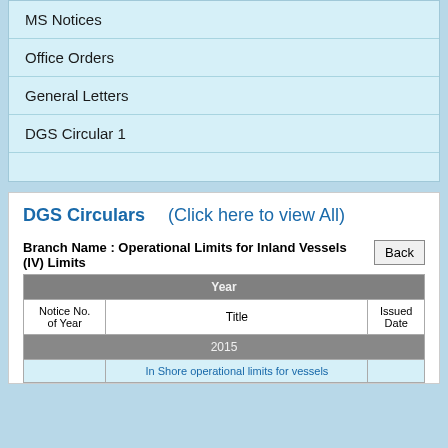MS Notices
Office Orders
General Letters
DGS Circular 1
DGS Circulars   (Click here to view All)
Branch Name : Operational Limits for Inland Vessels (IV) Limits
| Year |  |  |
| --- | --- | --- |
| Notice No. of Year | Title | Issued Date |
| 2015 |  |  |
|  | In Shore operational limits for vessels |  |